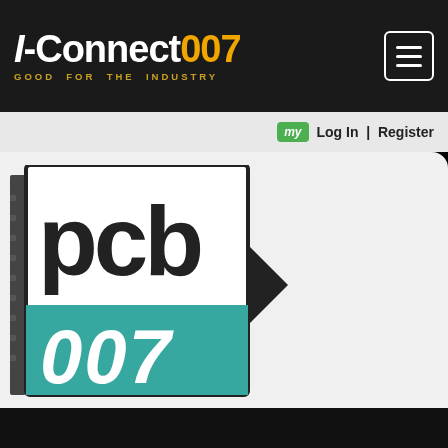I-Connect007 GOOD FOR THE INDUSTRY
my  Log In | Register
[Figure (logo): PCB007 logo with teal color block and circuit board decoration, with arrow and MENU label]
IMPACT 2015: An In-Depth Look
May 20, 2015 | John Hasselmann, IPC